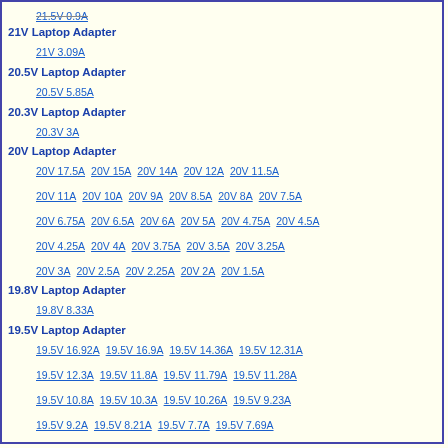21.5V 0.9A
21V Laptop Adapter
21V 3.09A
20.5V Laptop Adapter
20.5V 5.85A
20.3V Laptop Adapter
20.3V 3A
20V Laptop Adapter
20V 17.5A  20V 15A  20V 14A  20V 12A  20V 11.5A  20V 11A  20V 10A  20V 9A  20V 8.5A  20V 8A  20V 7.5A  20V 6.75A  20V 6.5A  20V 6A  20V 5A  20V 4.75A  20V 4.5A  20V 4.25A  20V 4A  20V 3.75A  20V 3.5A  20V 3.25A  20V 3A  20V 2.5A  20V 2.25A  20V 2A  20V 1.5A
19.8V Laptop Adapter
19.8V 8.33A
19.5V Laptop Adapter
19.5V 16.92A  19.5V 16.9A  19.5V 14.36A  19.5V 12.31A  19.5V 12.3A  19.5V 11.8A  19.5V 11.79A  19.5V 11.28A  19.5V 10.8A  19.5V 10.3A  19.5V 10.26A  19.5V 9.23A  19.5V 9.2A  19.5V 8.21A  19.5V 7.7A  19.5V 7.69A  19.5V 6.92A  19.5V 6.9A  19.5V 6.7A  19.5V 6.67A